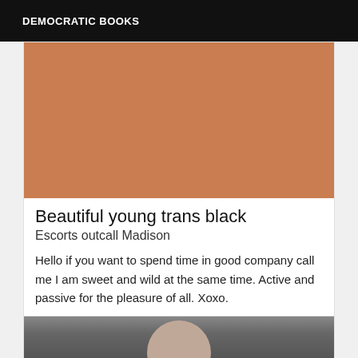DEMOCRATIC BOOKS
[Figure (photo): Close-up photo showing skin tone in brownish-orange color, cropped tightly]
Beautiful young trans black
Escorts outcall Madison
Hello if you want to spend time in good company call me I am sweet and wild at the same time. Active and passive for the pleasure of all. Xoxo.
[Figure (photo): Partial photo showing top of a person's head with dark hair, cropped at bottom of page]